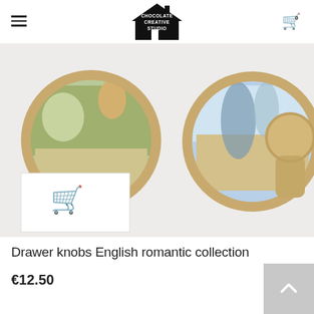Chocolate Creative Studio — navigation header with hamburger menu and cart icon
[Figure (photo): Close-up product photo of three decorative drawer knobs with nature/landscape print insets in brass circular frames, shown on a light background. A shopping cart add-to-cart overlay appears on the bottom left.]
Drawer knobs English romantic collection
€12.50